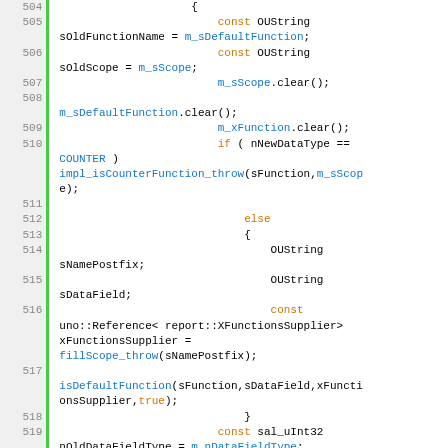[Figure (screenshot): Source code viewer showing lines 504-521 of a C++ file with syntax highlighting. Line numbers on left with green vertical bars, code on right with keywords in orange, identifiers in cyan/blue, and plain text in black.]